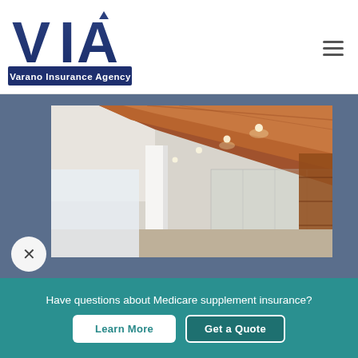[Figure (logo): VIA Varano Insurance Agency logo with large blue bold letters VIA and blue rectangular banner below reading Varano Insurance Agency]
[Figure (photo): Interior architectural photo showing a modern office or commercial space with wooden ceiling panels, recessed lighting, white columns, and glass partitions]
Have questions about Medicare supplement insurance?
Learn More
Get a Quote